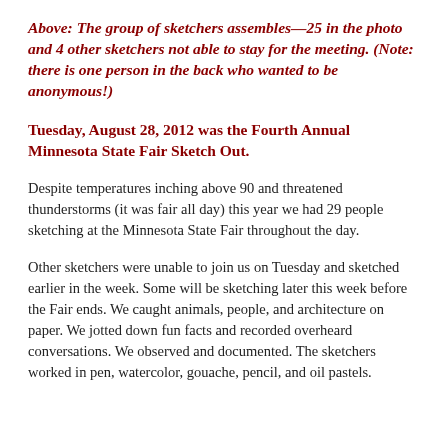Above: The group of sketchers assembles—25 in the photo and 4 other sketchers not able to stay for the meeting. (Note: there is one person in the back who wanted to be anonymous!)
Tuesday, August 28, 2012 was the Fourth Annual Minnesota State Fair Sketch Out.
Despite temperatures inching above 90 and threatened thunderstorms (it was fair all day) this year we had 29 people sketching at the Minnesota State Fair throughout the day.
Other sketchers were unable to join us on Tuesday and sketched earlier in the week. Some will be sketching later this week before the Fair ends. We caught animals, people, and architecture on paper. We jotted down fun facts and recorded overheard conversations. We observed and documented. The sketchers worked in pen, watercolor, gouache, pencil, and oil pastels.